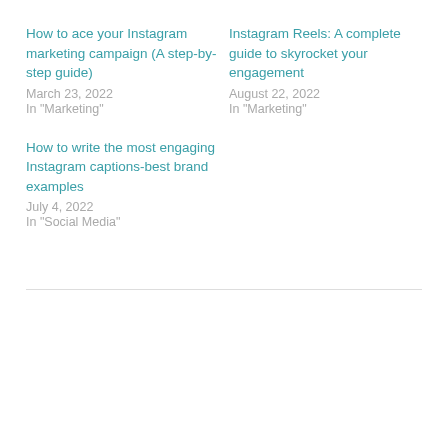How to ace your Instagram marketing campaign (A step-by-step guide)
March 23, 2022
In "Marketing"
Instagram Reels: A complete guide to skyrocket your engagement
August 22, 2022
In "Marketing"
How to write the most engaging Instagram captions-best brand examples
July 4, 2022
In "Social Media"